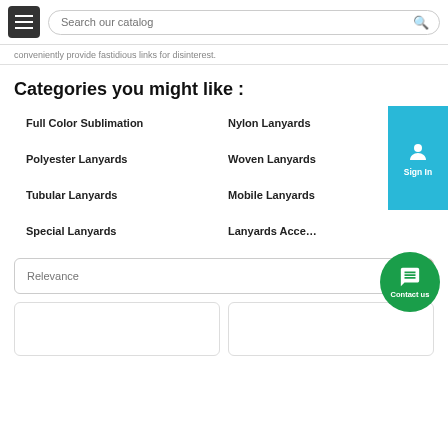Search our catalog
conveniently provide fastidious links for disinterest.
Categories you might like :
Full Color Sublimation
Nylon Lanyards
Polyester Lanyards
Woven Lanyards
Tubular Lanyards
Mobile Lanyards
Special Lanyards
Lanyards Acce...
Relevance
[Figure (other): Two product card placeholders at the bottom of the page]